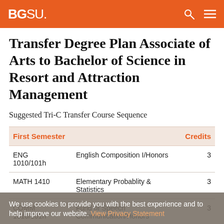BGSU.
Transfer Degree Plan Associate of Arts to Bachelor of Science in Resort and Attraction Management
Suggested Tri-C Transfer Course Sequence
| First Semester |  | Credits |
| --- | --- | --- |
| ENG 1010/101h | English Composition I/Honors | 3 |
| MATH 1410 | Elementary Probablity & Statistics | 3 |
| COMM 1010/101h | Fund of Speech Communication/Honors | 3 |
We use cookies to provide you with the best experience and to help improve our website. View Privacy Statement